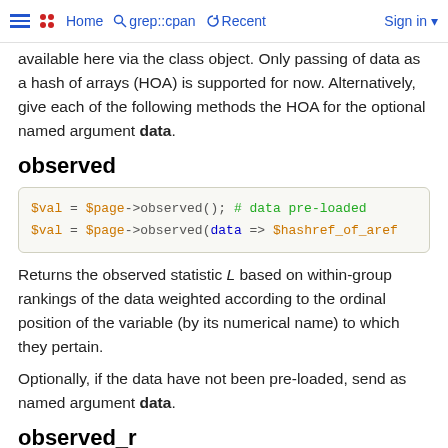Home  grep::cpan  Recent  Sign in
available here via the class object. Only passing of data as a hash of arrays (HOA) is supported for now. Alternatively, give each of the following methods the HOA for the optional named argument data.
observed
$val = $page->observed(); # data pre-loaded
$val = $page->observed(data => $hashref_of_aref
Returns the observed statistic L based on within-group rankings of the data weighted according to the ordinal position of the variable (by its numerical name) to which they pertain.
Optionally, if the data have not been pre-loaded, send as named argument data.
observed_r